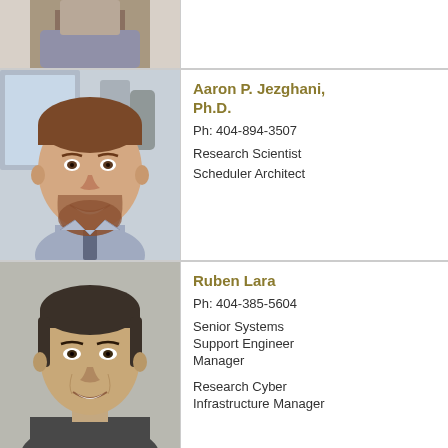[Figure (photo): Partial photo visible at top of page, cropped torso/shoulder area]
[Figure (photo): Headshot of Aaron P. Jezghani, Ph.D. - smiling man with beard and blue shirt]
Aaron P. Jezghani, Ph.D.
Ph: 404-894-3507
Research Scientist
Scheduler Architect
[Figure (photo): Headshot of Ruben Lara - man with dark hair in dark shirt]
Ruben Lara
Ph: 404-385-5604
Senior Systems Support Engineer Manager
Research Cyber Infrastructure Manager